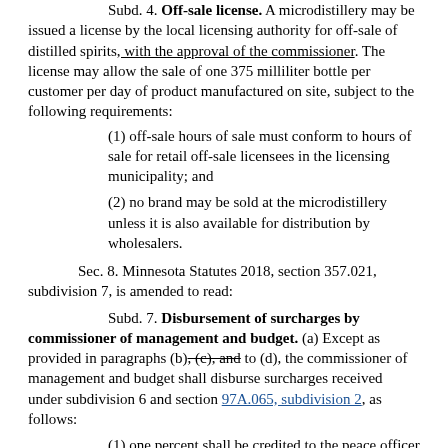Subd. 4. Off-sale license. A microdistillery may be issued a license by the local licensing authority for off-sale of distilled spirits, with the approval of the commissioner. The license may allow the sale of one 375 milliliter bottle per customer per day of product manufactured on site, subject to the following requirements:
(1) off-sale hours of sale must conform to hours of sale for retail off-sale licensees in the licensing municipality; and
(2) no brand may be sold at the microdistillery unless it is also available for distribution by wholesalers.
Sec. 8. Minnesota Statutes 2018, section 357.021, subdivision 7, is amended to read:
Subd. 7. Disbursement of surcharges by commissioner of management and budget. (a) Except as provided in paragraphs (b), (c), and to (d), the commissioner of management and budget shall disburse surcharges received under subdivision 6 and section 97A.065, subdivision 2, as follows:
(1) one percent shall be credited to the peace officer training account in the game and fish fund to provide peace